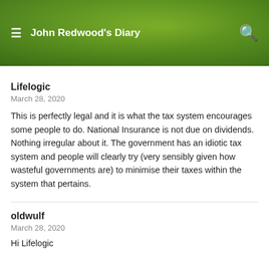John Redwood's Diary
Lifelogic
March 28, 2020
This is perfectly legal and it is what the tax system encourages some people to do. National Insurance is not due on dividends. Nothing irregular about it. The government has an idiotic tax system and people will clearly try (very sensibly given how wasteful governments are) to minimise their taxes within the system that pertains.
oldwulf
March 28, 2020
Hi Lifelogic